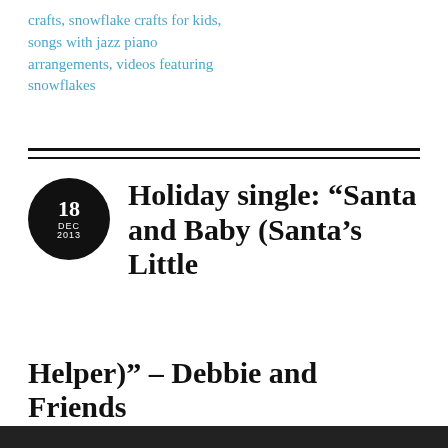crafts, snowflake crafts for kids, songs with jazz piano arrangements, videos featuring snowflakes
Holiday single: “Santa and Baby (Santa’s Little Helper)” – Debbie and Friends
posted in Downloads, Video